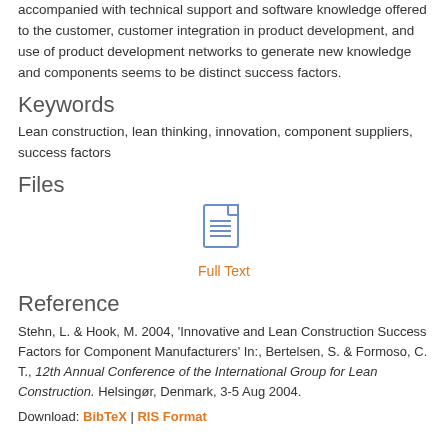accompanied with technical support and software knowledge offered to the customer, customer integration in product development, and use of product development networks to generate new knowledge and components seems to be distinct success factors.
Keywords
Lean construction, lean thinking, innovation, component suppliers, success factors
Files
[Figure (illustration): Document icon representing a full text file]
Full Text
Reference
Stehn, L. & Hook, M. 2004, 'Innovative and Lean Construction Success Factors for Component Manufacturers' In:, Bertelsen, S. & Formoso, C. T., 12th Annual Conference of the International Group for Lean Construction. Helsingør, Denmark, 3-5 Aug 2004.
Download: BibTeX | RIS Format